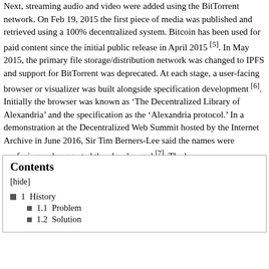Next, streaming audio and video were added using the BitTorrent network. On Feb 19, 2015 the first piece of media was published and retrieved using a 100% decentralized system. Bitcoin has been used for paid content since the initial public release in April 2015 [5]. In May 2015, the primary file storage/distribution network was changed to IPFS and support for BitTorrent was deprecated. At each stage, a user-facing browser or visualizer was built alongside specification development [6]. Initially the browser was known as 'The Decentralized Library of Alexandria' and the specification as the 'Alexandria protocol.' In a demonstration at the Decentralized Web Summit hosted by the Internet Archive in June 2016, Sir Tim Berners-Lee said the names were confusing and suggested they be changed [7]. The browser name was changed to 'Alexandria' and the specification name changed to 'Open Index Protocol.'
Contents
[hide]
1  History
1.1  Problem
1.2  Solution